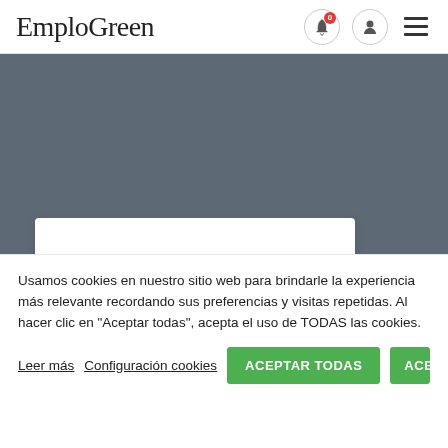EmploGreen
[Figure (screenshot): Gray hero banner area with a partial white search bar at the bottom]
Usamos cookies en nuestro sitio web para brindarle la experiencia más relevante recordando sus preferencias y visitas repetidas. Al hacer clic en "Aceptar todas", acepta el uso de TODAS las cookies.
Leer más   Configuración cookies   ACEPTAR TODAS   ACEPTAR